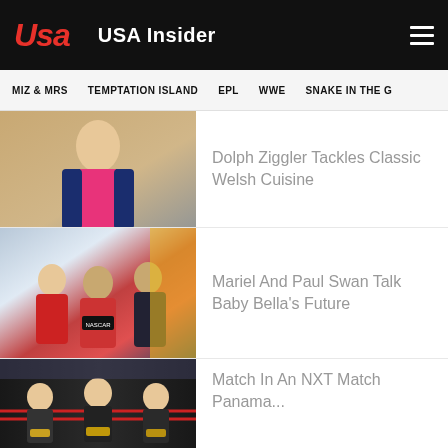USA Insider
MIZ & MRS
TEMPTATION ISLAND
EPL
WWE
SNAKE IN THE G
[Figure (photo): Dolph Ziggler in a blue blazer and pink shirt]
Dolph Ziggler Tackles Classic Welsh Cuisine
[Figure (photo): Mariel and Paul Swan at a NASCAR event]
Mariel And Paul Swan Talk Baby Bella's Future
[Figure (photo): Three wrestlers with championship belts in a ring]
Match In An NXT Match Panama...